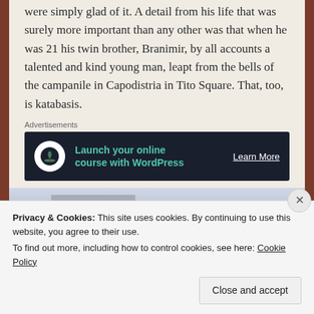were simply glad of it. A detail from his life that was surely more important than any other was that when he was 21 his twin brother, Branimir, by all accounts a talented and kind young man, leapt from the bells of the campanile in Capodistria in Tito Square. That, too, is katabasis.
Advertisements
[Figure (other): Advertisement banner: dark background with tree/bonsai icon, text 'Launch your online course with WordPress' and 'Learn More' call to action]
[Figure (photo): Partial photo of a large classical building with columns, viewed from below at an angle]
Privacy & Cookies: This site uses cookies. By continuing to use this website, you agree to their use.
To find out more, including how to control cookies, see here: Cookie Policy
Close and accept